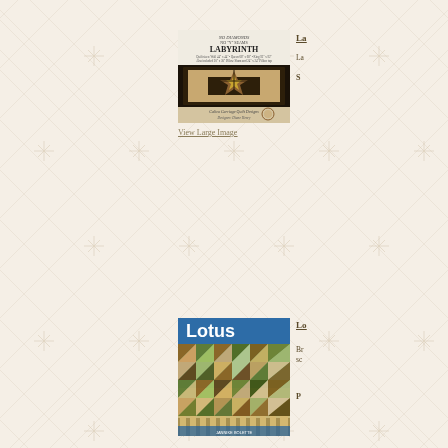[Figure (photo): Labyrinth quilt pattern book cover by Calico Carriage Quilt Designs, featuring a geometric labyrinth quilt design in brown and tan tones]
View Large Image
La...
La...
S...
[Figure (photo): Lotus quilt pattern book cover showing a colorful pinwheel/triangle quilt in earth tones with blue sky background]
Lo...
Br... sc...
P...